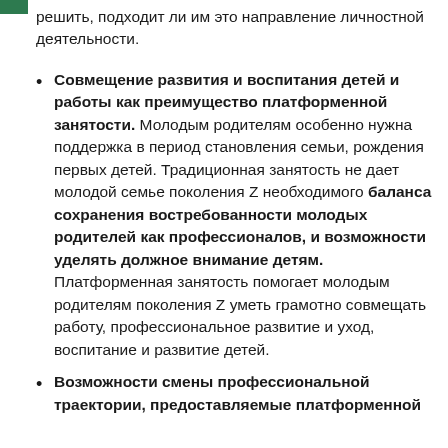решить, подходит ли им это направление личностной деятельности.
Совмещение развития и воспитания детей и работы как преимущество платформенной занятости. Молодым родителям особенно нужна поддержка в период становления семьи, рождения первых детей. Традиционная занятость не дает молодой семье поколения Z необходимого баланса сохранения востребованности молодых родителей как профессионалов, и возможности уделять должное внимание детям. Платформенная занятость помогает молодым родителям поколения Z уметь грамотно совмещать работу, профессиональное развитие и уход, воспитание и развитие детей.
Возможности смены профессиональной траектории, предоставляемые платформенной